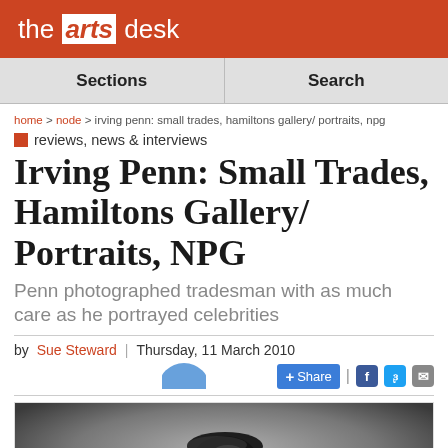the arts desk
Sections | Search
home > node > irving penn: small trades, hamiltons gallery/ portraits, npg
reviews, news & interviews
Irving Penn: Small Trades, Hamiltons Gallery/ Portraits, NPG
Penn photographed tradesman with as much care as he portrayed celebrities
by Sue Steward | Thursday, 11 March 2010
[Figure (photo): Black and white photograph of a man wearing a beret, partial view, with the artsdesk.com logo watermark in the bottom right corner]